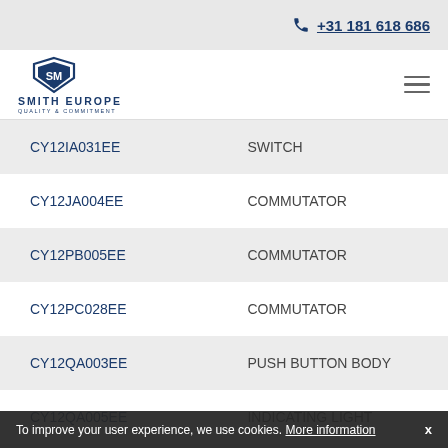+31 181 618 686
[Figure (logo): Smith Europe logo with shield emblem and tagline QUALITY & COMMITMENT]
| Part Code | Description |
| --- | --- |
| CY12IA031EE | SWITCH |
| CY12JA004EE | COMMUTATOR |
| CY12PB005EE | COMMUTATOR |
| CY12PC028EE | COMMUTATOR |
| CY12QA003EE | PUSH BUTTON BODY |
| CY12QA005EE | INDICATING LIGHT |
| CY12RB002EE | SWITCH |
To improve your user experience, we use cookies. More information